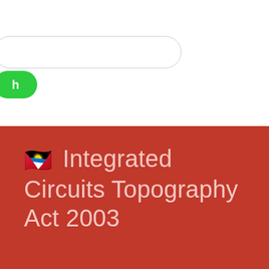[Figure (screenshot): White top section with a rounded search bar and a green search button partially visible on the left edge]
🇦🇬 Integrated Circuits Topography Act 2003